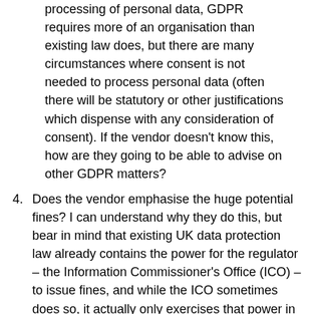(continuation) processing of personal data, GDPR requires more of an organisation than existing law does, but there are many circumstances where consent is not needed to process personal data (often there will be statutory or other justifications which dispense with any consideration of consent). If the vendor doesn't know this, how are they going to be able to advise on other GDPR matters?
4. Does the vendor emphasise the huge potential fines? I can understand why they do this, but bear in mind that existing UK data protection law already contains the power for the regulator – the Information Commissioner's Office (ICO) – to issue fines, and while the ICO sometimes does so, it actually only exercises that power in exceptional circumstances, and there is no reason to think this will be any different under GDPR. Fines are paid...